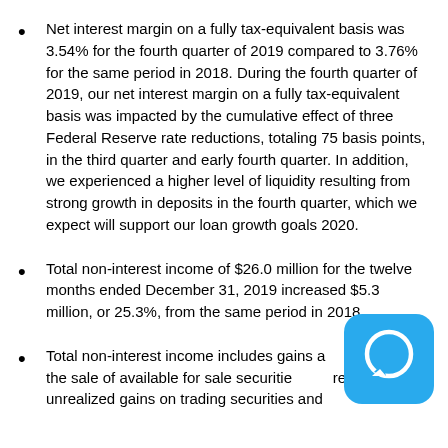Net interest margin on a fully tax-equivalent basis was 3.54% for the fourth quarter of 2019 compared to 3.76% for the same period in 2018. During the fourth quarter of 2019, our net interest margin on a fully tax-equivalent basis was impacted by the cumulative effect of three Federal Reserve rate reductions, totaling 75 basis points, in the third quarter and early fourth quarter. In addition, we experienced a higher level of liquidity resulting from strong growth in deposits in the fourth quarter, which we expect will support our loan growth goals 2020.
Total non-interest income of $26.0 million for the twelve months ended December 31, 2019 increased $5.3 million, or 25.3%, from the same period in 2018.
Total non-interest income includes gains associated with the sale of available for sale securities and realized and unrealized gains on trading securities and